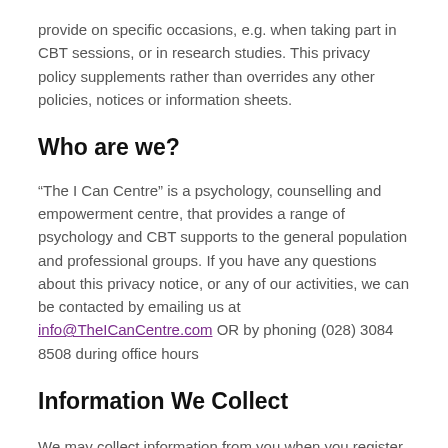provide on specific occasions, e.g. when taking part in CBT sessions, or in research studies. This privacy policy supplements rather than overrides any other policies, notices or information sheets.
Who are we?
“The I Can Centre” is a psychology, counselling and empowerment centre, that provides a range of psychology and CBT supports to the general population and professional groups. If you have any questions about this privacy notice, or any of our activities, we can be contacted by emailing us at info@TheICanCentre.com OR by phoning (028) 3084 8508 during office hours
Information We Collect
We may collect information from you when you register